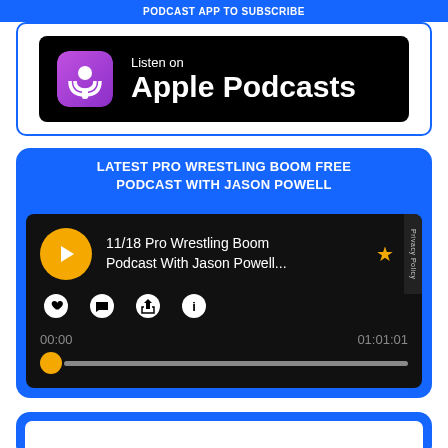PODCAST APP TO SUBSCRIBE
[Figure (logo): Listen on Apple Podcasts badge with purple podcast icon on black background]
LATEST PRO WRESTLING BOOM FREE PODCAST WITH JASON POWELL
[Figure (screenshot): Podcast player widget showing 11/18 Pro Wrestling Boom Podcast With Jason Powell... with play button, action icons (heart, comment, share, info), timestamps 00:00 and 01:01:01, and a progress bar with yellow knob at start]